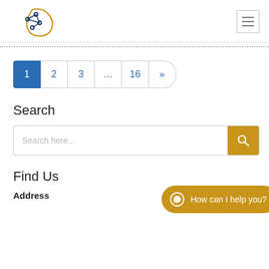[Figure (logo): Sigma-Pi MedicoLegal logo with network/brain graphic in dark blue and orange]
Pagination: 1 (active), 2, 3, ..., 16, »
Search
Search here...
Find Us
Address
How can I help you?